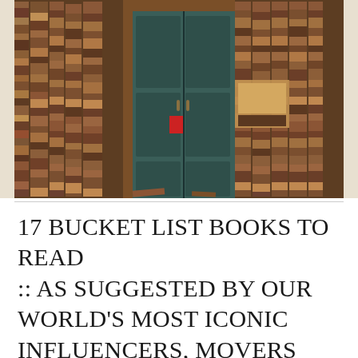[Figure (photo): Photograph of a wall and doorway entirely covered and surrounded by stacks of old books arranged chaotically. A dark teal/green double door is in the center, with a small red notice on it. Books are piled floor to ceiling on all sides.]
17 BUCKET LIST BOOKS TO READ :: AS SUGGESTED BY OUR WORLD'S MOST ICONIC INFLUENCERS, MOVERS AND